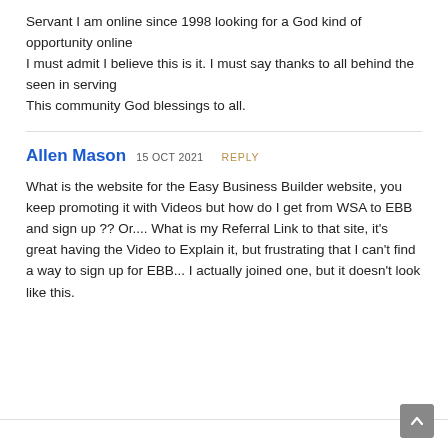Servant I am online since 1998 looking for a God kind of opportunity online
I must admit I believe this is it. I must say thanks to all behind the seen in serving
This community God blessings to all.
Allen Mason 15 OCT 2021 REPLY
What is the website for the Easy Business Builder website, you keep promoting it with Videos but how do I get from WSA to EBB and sign up ?? Or.... What is my Referral Link to that site, it's great having the Video to Explain it, but frustrating that I can't find a way to sign up for EBB... I actually joined one, but it doesn't look like this.